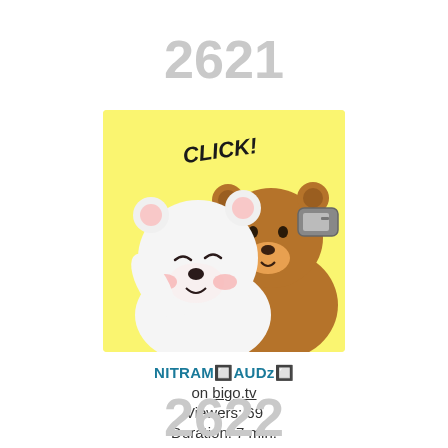2621
[Figure (illustration): Cartoon illustration on yellow background: a white bear and a brown bear taking a selfie. The text 'CLICK!' appears at the top.]
NITRAM🔲AUDz🔲
on bigo.tv
Viewers: 69
Duration: 7 min.
2622